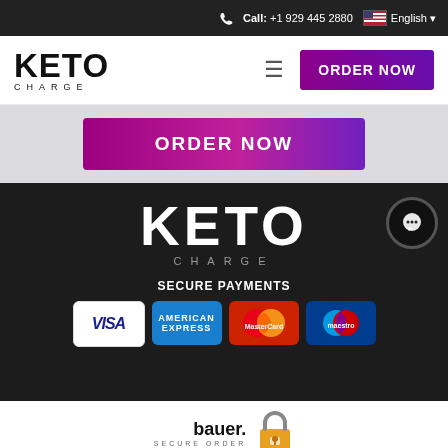Call: +1 929 445 2880  English
[Figure (logo): KetoCharge logo - KETO in bold black with CHARGE in spaced letters below]
ORDER NOW
ORDER NOW
[Figure (logo): KetoCharge footer logo - KETO in large white bold letters with CHARGE spaced below on dark background]
SECURE PAYMENTS
[Figure (infographic): Payment method logos: VISA, American Express, MasterCard, Maestro]
[Figure (logo): Bauer Secure Order logo with padlock icon]